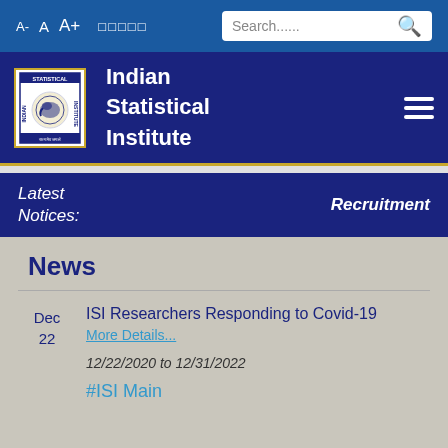A-  A  A+  □□□□□  Search......
Indian Statistical Institute
Latest Notices:   Recruitment
News
ISI Researchers Responding to Covid-19
More Details...
12/22/2020 to 12/31/2022
#ISI Main